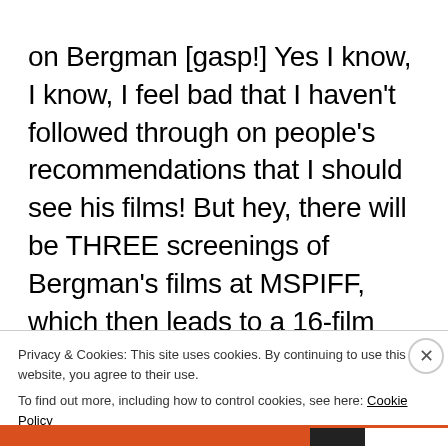on Bergman [gasp!] Yes I know, I know, I feel bad that I haven't followed through on people's recommendations that I should see his films! But hey, there will be THREE screenings of Bergman's films at MSPIFF, which then leads to a 16-film Bergman retrospective on May 25-June 7. The Film Society is bringing to the Twin Cities the Swedish master's iconic classics and lesser-known titles in his oeuvre, a feast for
Privacy & Cookies: This site uses cookies. By continuing to use this website, you agree to their use.
To find out more, including how to control cookies, see here: Cookie Policy